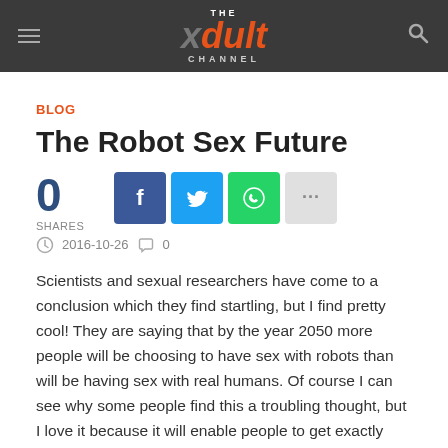THE xdult CHANNEL
BLOG
The Robot Sex Future
0 SHARES  2016-10-26  0
Scientists and sexual researchers have come to a conclusion which they find startling, but I find pretty cool! They are saying that by the year 2050 more people will be choosing to have sex with robots than will be having sex with real humans. Of course I can see why some people find this a troubling thought, but I love it because it will enable people to get exactly what they want from their sex lives and they won't have to go through any awkward